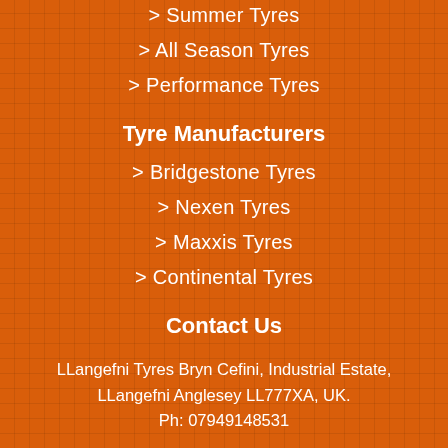> Summer Tyres
> All Season Tyres
> Performance Tyres
Tyre Manufacturers
> Bridgestone Tyres
> Nexen Tyres
> Maxxis Tyres
> Continental Tyres
Contact Us
LLangefni Tyres Bryn Cefini, Industrial Estate, LLangefni Anglesey LL777XA, UK.
Ph: 07949148531
Mon – Fri 08:00 – 17:30